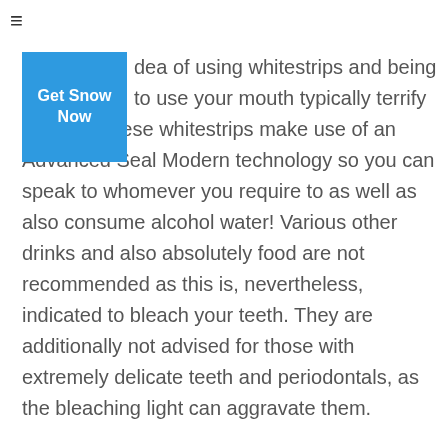≡
[Figure (other): Blue button with text 'Get Snow Now']
dea of using whitestrips and being to use your mouth typically terrify you off? These whitestrips make use of an Advanced Seal Modern technology so you can speak to whomever you require to as well as also consume alcohol water! Various other drinks and also absolutely food are not recommended as this is, nevertheless, indicated to bleach your teeth. They are additionally not advised for those with extremely delicate teeth and periodontals, as the bleaching light can aggravate them.